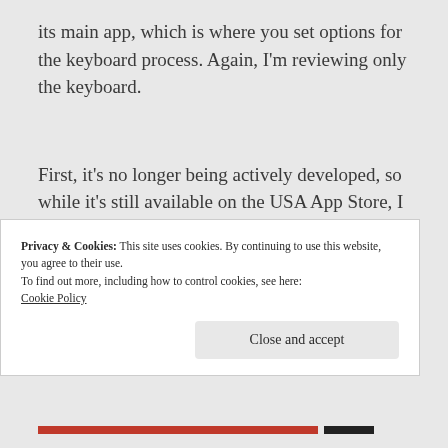its main app, which is where you set options for the keyboard process. Again, I'm reviewing only the keyboard.
First, it's no longer being actively developed, so while it's still available on the USA App Store, I suspect it will go bye-bye at the first
Privacy & Cookies: This site uses cookies. By continuing to use this website, you agree to their use.
To find out more, including how to control cookies, see here:
Cookie Policy
Close and accept